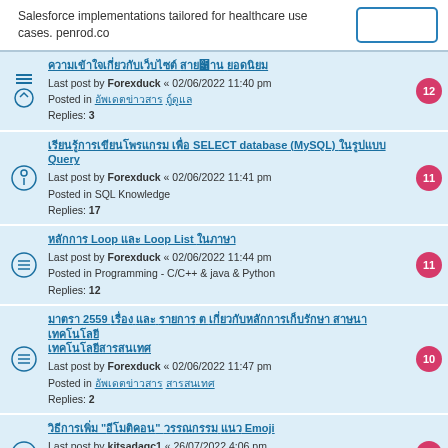Salesforce implementations tailored for healthcare use cases. penrod.co
Thai forum post title 1 — Last post by Forexduck « 02/06/2022 11:40 pm — Posted in Thai category — Replies: 3 — Badge: 12
Thai forum post about SELECT database (MySQL) Query — Last post by Forexduck « 02/06/2022 11:41 pm — Posted in SQL Knowledge — Replies: 17 — Badge: 11
Thai Loop Loop List post — Last post by Forexduck « 02/06/2022 11:44 pm — Posted in Programming - C/C++ & java & Python — Replies: 12 — Badge: 11
Thai 2559 post long title — Last post by Forexduck « 02/06/2022 11:47 pm — Posted in Thai category — Replies: 2 — Badge: 10
Thai post about Emoji — Last post by kitsadagc1 « 26/07/2022 4:06 pm — Posted in Thai category — Replies: 7 — Badge: 10
network Thai remote Thai — Last post by chakrit « 21/07/2022 6:24 pm — Posted in Thai subcategory — Replies: 17 — Badge: 10
Thai Print Barcode partial — Badge visible